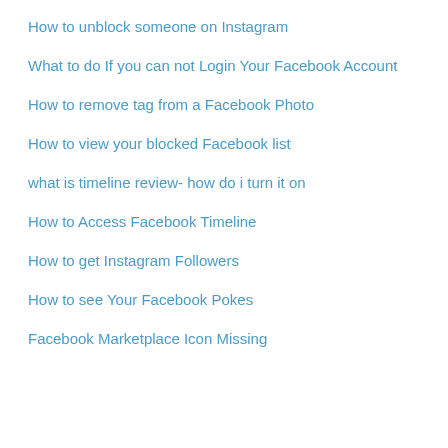How to unblock someone on Instagram
What to do If you can not Login Your Facebook Account
How to remove tag from a Facebook Photo
How to view your blocked Facebook list
what is timeline review- how do i turn it on
How to Access Facebook Timeline
How to get Instagram Followers
How to see Your Facebook Pokes
Facebook Marketplace Icon Missing